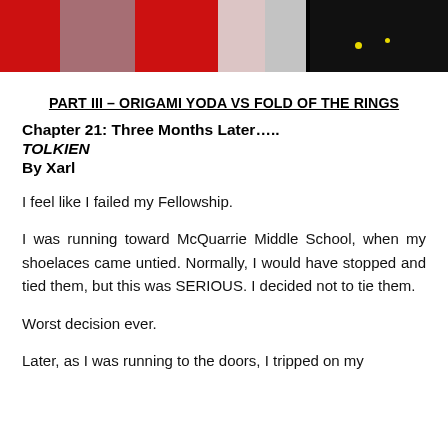[Figure (photo): Top banner photo strip showing a figure in gray pants against red, white, and black background with yellow dots]
PART III – ORIGAMI YODA VS FOLD OF THE RINGS
Chapter 21: Three Months Later…..
TOLKIEN
By Xarl
I feel like I failed my Fellowship.
I was running toward McQuarrie Middle School, when my shoelaces came untied. Normally, I would have stopped and tied them, but this was SERIOUS. I decided not to tie them.
Worst decision ever.
Later, as I was running to the doors, I tripped on my